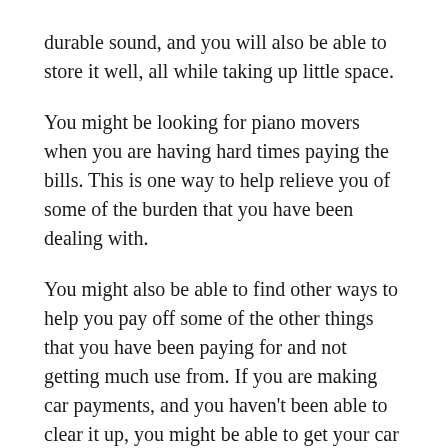durable sound, and you will also be able to store it well, all while taking up little space.
You might be looking for piano movers when you are having hard times paying the bills. This is one way to help relieve you of some of the burden that you have been dealing with.
You might also be able to find other ways to help you pay off some of the other things that you have been paying for and not getting much use from. If you are making car payments, and you haven't been able to clear it up, you might be able to get your car repo-ed by these professional piano movers.